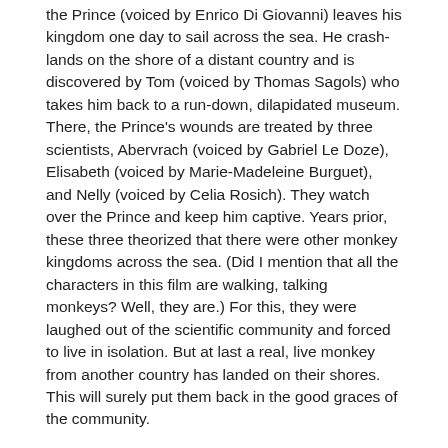the Prince (voiced by Enrico Di Giovanni) leaves his kingdom one day to sail across the sea. He crash-lands on the shore of a distant country and is discovered by Tom (voiced by Thomas Sagols) who takes him back to a run-down, dilapidated museum. There, the Prince's wounds are treated by three scientists, Abervrach (voiced by Gabriel Le Doze), Elisabeth (voiced by Marie-Madeleine Burguet), and Nelly (voiced by Celia Rosich). They watch over the Prince and keep him captive. Years prior, these three theorized that there were other monkey kingdoms across the sea. (Did I mention that all the characters in this film are walking, talking monkeys? Well, they are.) For this, they were laughed out of the scientific community and forced to live in isolation. But at last a real, live monkey from another country has landed on their shores. This will surely put them back in the good graces of the community.
Abervrach studies him closely, taking vigorous notes. The Prince often plays the fool, pretending to be less intelligent than he is. The Prince speaks a different language than the others, but Tom is able to learn it very quickly (he can also talk to the birds and the trees, and other living things). He then teaches their language to the Prince. Confusingly in the film, all the actors speak French so there are scenes in which two monkeys are speaking French